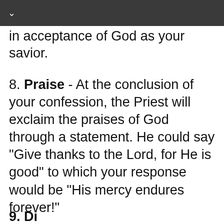∨
in acceptance of God as your savior.
8. Praise - At the conclusion of your confession, the Priest will exclaim the praises of God through a statement. He could say "Give thanks to the Lord, for He is good" to which your response would be "His mercy endures forever!"
9. Dismissed by The Priest...